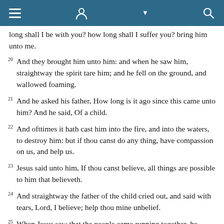toolbar with menu, person, dropdown, search icons
long shall I be with you? how long shall I suffer you? bring him unto me.
20 And they brought him unto him: and when he saw him, straightway the spirit tare him; and he fell on the ground, and wallowed foaming.
21 And he asked his father, How long is it ago since this came unto him? And he said, Of a child.
22 And ofttimes it hath cast him into the fire, and into the waters, to destroy him: but if thou canst do any thing, have compassion on us, and help us.
23 Jesus said unto him, If thou canst believe, all things are possible to him that believeth.
24 And straightway the father of the child cried out, and said with tears, Lord, I believe; help thou mine unbelief.
25 When Jesus saw that the people came running together, he rebuked the foul spirit, saying unto him, Thou dumb and